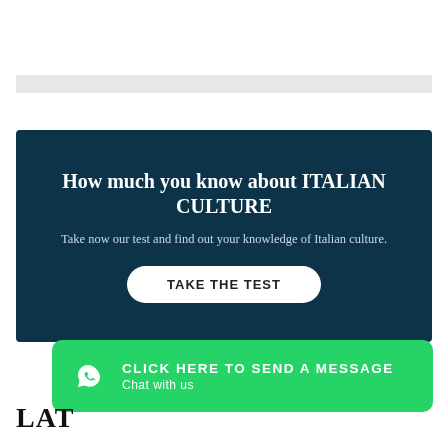How much you know about ITALIAN CULTURE
Take now our test and find out your knowledge of Italian culture.
TAKE THE TEST
CLICK HERE TO SEND A MESSAGE
Chat with us
LAT